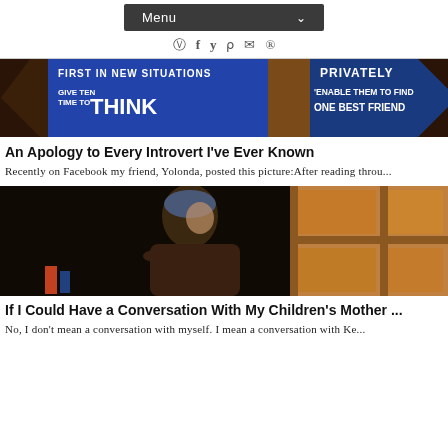Menu
[Figure (photo): Banner image with text: FIRST IN NEW SITUATIONS, GIVE TEN TIME TO THINK, PRIVATELY, ENABLE THEM TO FIND ONE BEST FRIEND]
An Apology to Every Introvert I've Ever Known
Recently on Facebook my friend, Yolonda, posted this picture:After reading throu...
[Figure (photo): Photo of a young woman with a head covering, looking upward, standing near a wooden door or window frame in dim indoor lighting]
If I Could Have a Conversation With My Children's Mother ...
No, I don't mean a conversation with myself.  I mean a conversation with Ke...